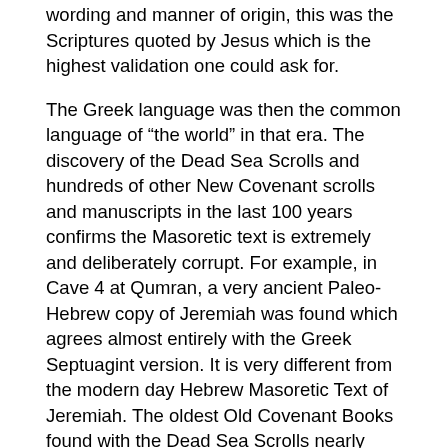wording and manner of origin, this was the Scriptures quoted by Jesus which is the highest validation one could ask for.
The Greek language was then the common language of “the world” in that era. The discovery of the Dead Sea Scrolls and hundreds of other New Covenant scrolls and manuscripts in the last 100 years confirms the Masoretic text is extremely and deliberately corrupt. For example, in Cave 4 at Qumran, a very ancient Paleo-Hebrew copy of Jeremiah was found which agrees almost entirely with the Greek Septuagint version. It is very different from the modern day Hebrew Masoretic Text of Jeremiah. The oldest Old Covenant Books found with the Dead Sea Scrolls nearly matches the Septuagint text, but not the Masoretic. The